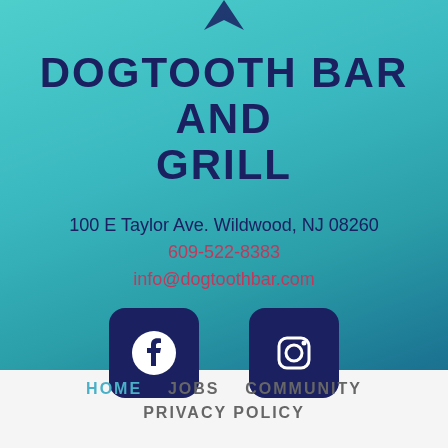[Figure (logo): Partial fish/dogtooth logo icon at the top center]
DOGTOOTH BAR AND GRILL
100 E Taylor Ave. Wildwood, NJ 08260
609-522-8383
info@dogtoothbar.com
[Figure (logo): Facebook social media icon button (dark navy square with white F logo)]
[Figure (logo): Instagram social media icon button (dark navy square with white camera logo)]
HOME   JOBS   COMMUNITY   PRIVACY POLICY